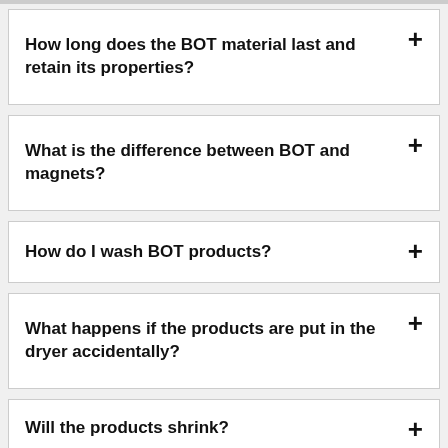How long does the BOT material last and retain its properties?
What is the difference between BOT and magnets?
How do I wash BOT products?
What happens if the products are put in the dryer accidentally?
Will the products shrink?